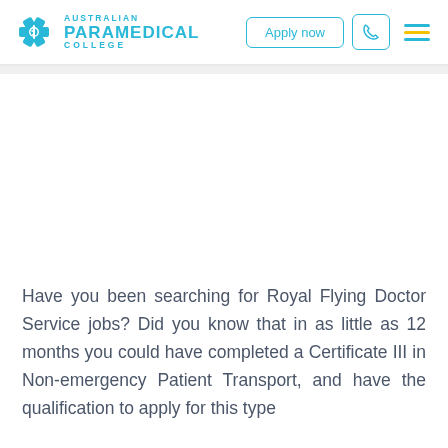[Figure (logo): Australian Paramedical College logo with star-of-life icon in teal/cyan color, with text AUSTRALIAN PARAMEDICAL COLLEGE]
Have you been searching for Royal Flying Doctor Service jobs? Did you know that in as little as 12 months you could have completed a Certificate III in Non-emergency Patient Transport, and have the qualification to apply for this type